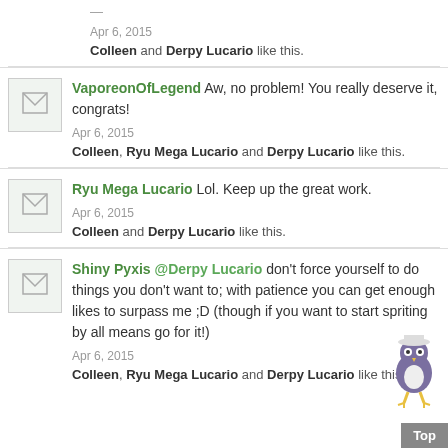Apr 6, 2015
Colleen and Derpy Lucario like this.
VaporeonOfLegend Aw, no problem! You really deserve it, congrats!
Apr 6, 2015
Colleen, Ryu Mega Lucario and Derpy Lucario like this.
Ryu Mega Lucario Lol. Keep up the great work.
Apr 6, 2015
Colleen and Derpy Lucario like this.
Shiny Pyxis @Derpy Lucario don't force yourself to do things you don't want to; with patience you can get enough likes to surpass me ;D (though if you want to start spriting by all means go for it!)
Apr 6, 2015
Colleen, Ryu Mega Lucario and Derpy Lucario like this.